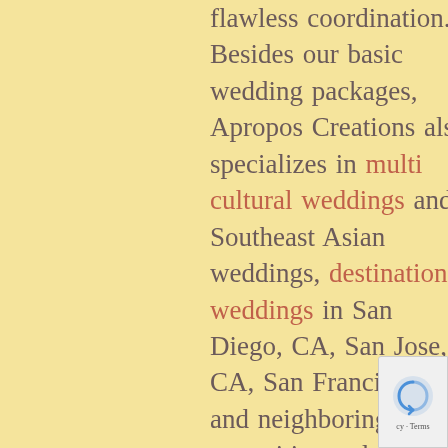flawless coordination. Besides our basic wedding packages, Apropos Creations also specializes in multi cultural weddings and Southeast Asian weddings, destination weddings in San Diego, CA, San Jose, CA, San Francisco, CA and neighboring bay area cities and Philippines destination weddings. We pledge to you our devotion to make your wedding and event as